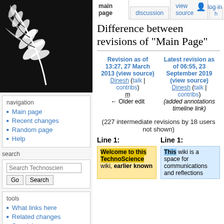[Figure (illustration): Black and white decorative plant/fern illustration on dark background, used as wiki sidebar logo]
navigation
Main page
Recent changes
Random page
Help
search
tools
What links here
Related changes
Special pages
Printable version
Permanent link
main page | discussion | view source | log in
Difference between revisions of "Main Page"
| Revision as of 13:27, 27 March 2013 (view source) | Latest revision as of 06:55, 23 September 2019 (view source) |
| --- | --- |
| Dinesh (talk | contribs) | Dinesh (talk | contribs) |
| m |  |
| ← Older edit | (added annotations timeline link) |
(227 intermediate revisions by 18 users not shown)
Line 1:	Line 1:
Welcome to this TechnoScience wiki, earlier known		This wiki is a space for communications and reflections